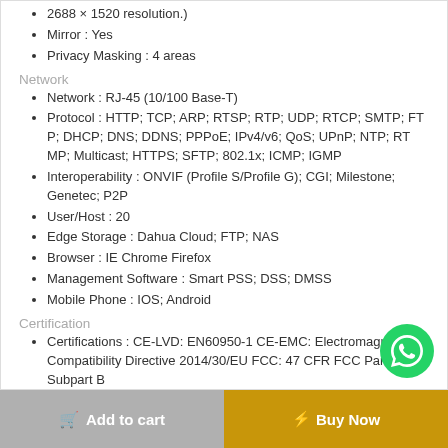2688 × 1520 resolution.)
Mirror : Yes
Privacy Masking : 4 areas
Network
Network : RJ-45 (10/100 Base-T)
Protocol : HTTP; TCP; ARP; RTSP; RTP; UDP; RTCP; SMTP; FTP; DHCP; DNS; DDNS; PPPoE; IPv4/v6; QoS; UPnP; NTP; RTMP; Multicast; HTTPS; SFTP; 802.1x; ICMP; IGMP
Interoperability : ONVIF (Profile S/Profile G); CGI; Milestone; Genetec; P2P
User/Host : 20
Edge Storage : Dahua Cloud; FTP; NAS
Browser : IE Chrome Firefox
Management Software : Smart PSS; DSS; DMSS
Mobile Phone : IOS; Android
Certification
Certifications : CE-LVD: EN60950-1 CE-EMC: Electromagnetic Compatibility Directive 2014/30/EU FCC: 47 CFR FCC Part 15, Subpart B
Power